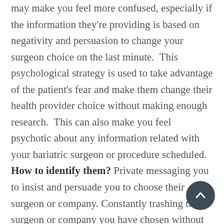may make you feel more confused, especially if the information they're providing is based on negativity and persuasion to change your surgeon choice on the last minute. This psychological strategy is used to take advantage of the patient's fear and make them change their health provider choice without making enough research. This can also make you feel psychotic about any information related with your bariatric surgeon or procedure scheduled. How to identify them? Private messaging you to insist and persuade you to choose their surgeon or company. Constantly trashing the surgeon or company you have chosen without any proof or solid information. Some former patients from competitors are on a